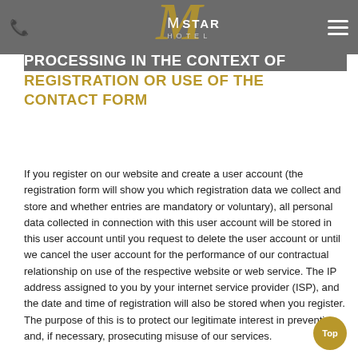MSTAR HOTEL
PROCESSING IN THE CONTEXT OF REGISTRATION OR USE OF THE CONTACT FORM
If you register on our website and create a user account (the registration form will show you which registration data we collect and store and whether entries are mandatory or voluntary), all personal data collected in connection with this user account will be stored in this user account until you request to delete the user account or until we cancel the user account for the performance of our contractual relationship on use of the respective website or web service. The IP address assigned to you by your internet service provider (ISP), and the date and time of registration will also be stored when you register. The purpose of this is to protect our legitimate interest in preventing and, if necessary, prosecuting misuse of our services.